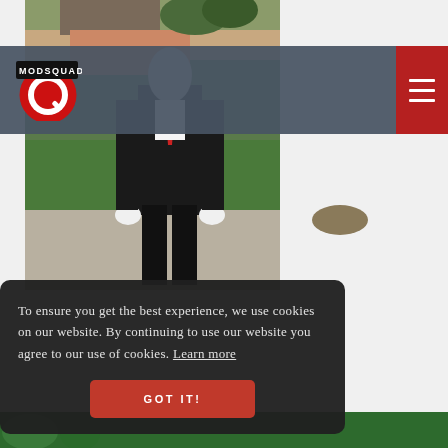[Figure (photo): Screenshot of a website (ModSquad) showing a person dressed in a Slender Man costume (black suit, white gloves, faceless head with red tie) standing on a suburban sidewalk. A navigation bar with the ModSquad logo is overlaid at the top. A cookie consent banner appears in the lower portion.]
MODSQUAD
To ensure you get the best experience, we use cookies on our website. By continuing to use our website you agree to our use of cookies. Learn more
GOT IT!